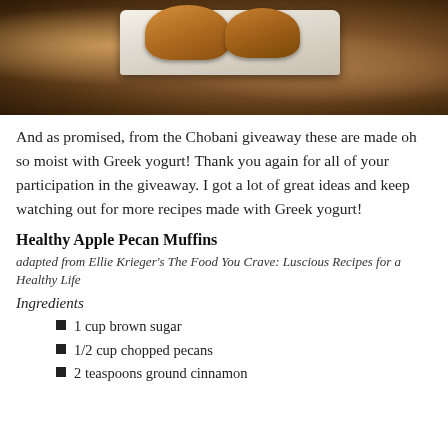[Figure (photo): Photo of apple pecan muffins on a plate, displayed on a textured dark brown surface]
And as promised, from the Chobani giveaway these are made oh so moist with Greek yogurt! Thank you again for all of your participation in the giveaway. I got a lot of great ideas and keep watching out for more recipes made with Greek yogurt!
Healthy Apple Pecan Muffins
adapted from Ellie Krieger's The Food You Crave: Luscious Recipes for a Healthy Life
Ingredients
1 cup brown sugar
1/2 cup chopped pecans
2 teaspoons ground cinnamon